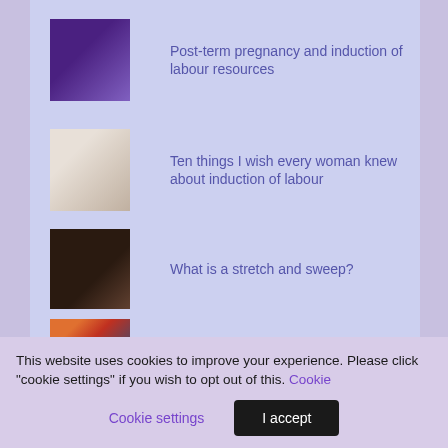Post-term pregnancy and induction of labour resources
Ten things I wish every woman knew about induction of labour
What is a stretch and sweep?
Articles
Five questions to ask if you're offered induction of labour
Seven things every parent needs to know about vitamin K
This website uses cookies to improve your experience. Please click "cookie settings" if you wish to opt out of this. Cookie settings  I accept